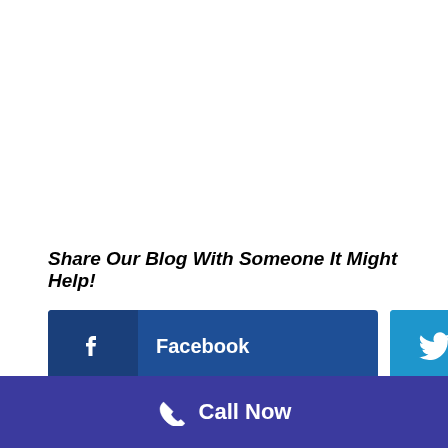Share Our Blog With Someone It Might Help!
[Figure (other): Social share buttons: Facebook, Twitter, LinkedIn]
Call Now